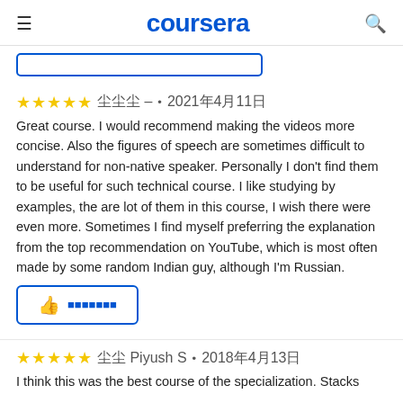coursera
（button outline）
★★★★★  ███ –  •  2021年4月11日
Great course. I would recommend making the videos more concise. Also the figures of speech are sometimes difficult to understand for non-native speaker. Personally I don't find them to be useful for such technical course. I like studying by examples, the are lot of them in this course, I wish there were even more. Sometimes I find myself preferring the explanation from the top recommendation on YouTube, which is most often made by some random Indian guy, although I'm Russian.
（helpful button）
★★★★★  ██ Piyush S  •  2018年4月13日
I think this was the best course of the specialization. Stacks…